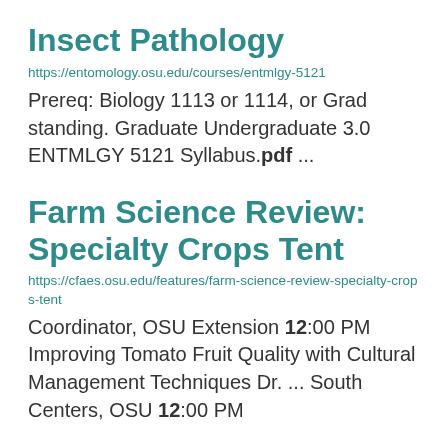Insect Pathology
https://entomology.osu.edu/courses/entmlgy-5121
Prereq: Biology 1113 or 1114, or Grad standing. Graduate Undergraduate 3.0 ENTMLGY 5121 Syllabus.pdf ...
Farm Science Review: Specialty Crops Tent
https://cfaes.osu.edu/features/farm-science-review-specialty-crops-tent
Coordinator, OSU Extension 12:00 PM Improving Tomato Fruit Quality with Cultural Management Techniques Dr. ... South Centers, OSU 12:00 PM